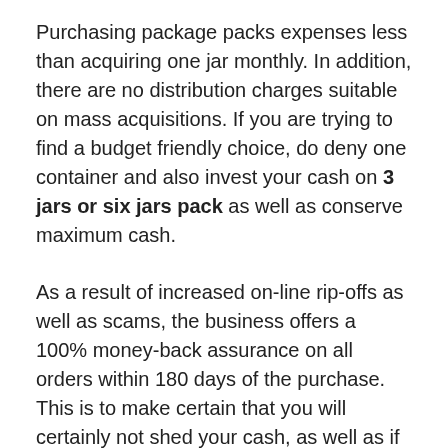Purchasing package packs expenses less than acquiring one jar monthly. In addition, there are no distribution charges suitable on mass acquisitions. If you are trying to find a budget friendly choice, do deny one container and also invest your cash on 3 jars or six jars pack as well as conserve maximum cash.
As a result of increased on-line rip-offs as well as scams, the business offers a 100% money-back assurance on all orders within 180 days of the purchase. This is to make certain that you will certainly not shed your cash, as well as if the product falls short to supply the outcomes, the customer will certainly obtain his cash back from the business.